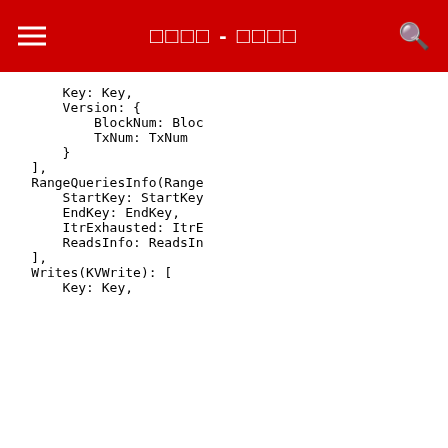□□□□ - □□□□
Key: Key,
            Version: {
                BlockNum: Bloc
                TxNum: TxNum
            }
        ],
        RangeQueriesInfo(Range
            StartKey: StartKey
            EndKey: EndKey,
            ItrExhausted: ItrE
            ReadsInfo: ReadsIn
        ],
        Writes(KVWrite): [
            Key: Key,